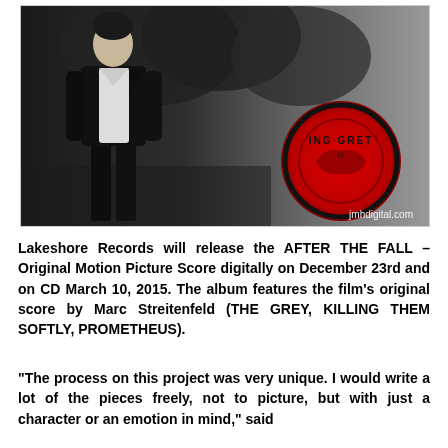[Figure (photo): Black and white photo of a young man in a dark suit and white shirt standing outdoors with trees in the background. On the right side is a red circular logo/seal. Watermark reads jmhdigital.com in the bottom right corner.]
Lakeshore Records will release the AFTER THE FALL – Original Motion Picture Score digitally on December 23rd and on CD March 10, 2015. The album features the film's original score by Marc Streitenfeld (THE GREY, KILLING THEM SOFTLY, PROMETHEUS).
"The process on this project was very unique. I would write a lot of the pieces freely, not to picture, but with just a character or an emotion in mind," said